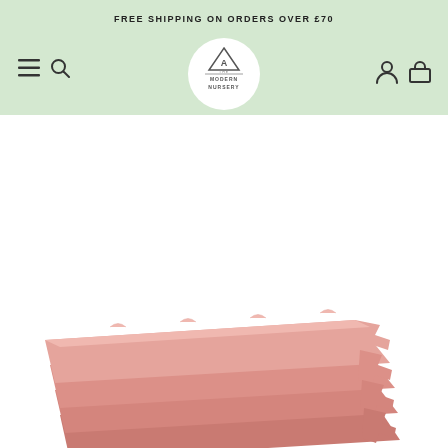FREE SHIPPING ON ORDERS OVER £70
[Figure (logo): The Modern Nursery circular logo with triangle/A mark]
20% off
[Figure (photo): Stacked pink foam play mat tiles with puzzle-piece interlocking edges]